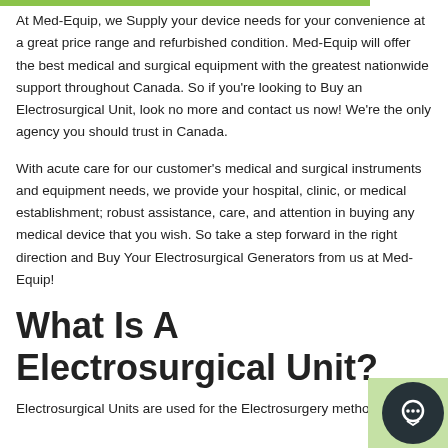At Med-Equip, we Supply your device needs for your convenience at a great price range and refurbished condition. Med-Equip will offer the best medical and surgical equipment with the greatest nationwide support throughout Canada. So if you're looking to Buy an Electrosurgical Unit, look no more and contact us now! We're the only agency you should trust in Canada.
With acute care for our customer's medical and surgical instruments and equipment needs, we provide your hospital, clinic, or medical establishment; robust assistance, care, and attention in buying any medical device that you wish. So take a step forward in the right direction and Buy Your Electrosurgical Generators from us at Med-Equip!
What Is A Electrosurgical Unit?
Electrosurgical Units are used for the Electrosurgery method.